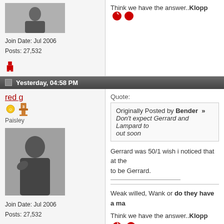Join Date: Jul 2006
Posts: 27,532
Think we have the answer..Klopp
Yesterday, 04:58 PM
red g
Paisley
Join Date: Jul 2006
Posts: 27,532
Quote:
Originally Posted by Bender » Don't expect Gerrard and Lampard to... out soon
Gerrard was 50/1 wish i noticed that at the... to be Gerrard.
Weak willed, Wank or do they have a ma...
Think we have the answer..Klopp
Yesterday, 05:02 PM